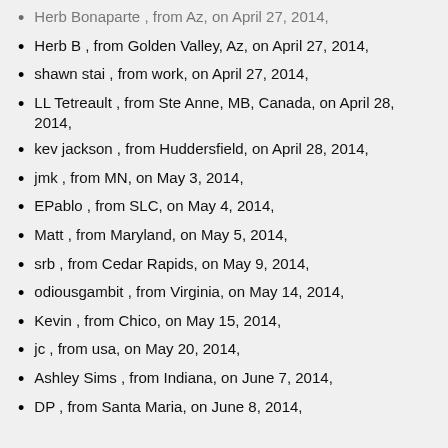Herb Bonaparte , from Az, on April 27, 2014,
Herb B , from Golden Valley, Az, on April 27, 2014,
shawn stai , from work, on April 27, 2014,
LL Tetreault , from Ste Anne, MB, Canada, on April 28, 2014,
kev jackson , from Huddersfield, on April 28, 2014,
jmk , from MN, on May 3, 2014,
EPablo , from SLC, on May 4, 2014,
Matt , from Maryland, on May 5, 2014,
srb , from Cedar Rapids, on May 9, 2014,
odiousgambit , from Virginia, on May 14, 2014,
Kevin , from Chico, on May 15, 2014,
jc , from usa, on May 20, 2014,
Ashley Sims , from Indiana, on June 7, 2014,
DP , from Santa Maria, on June 8, 2014,